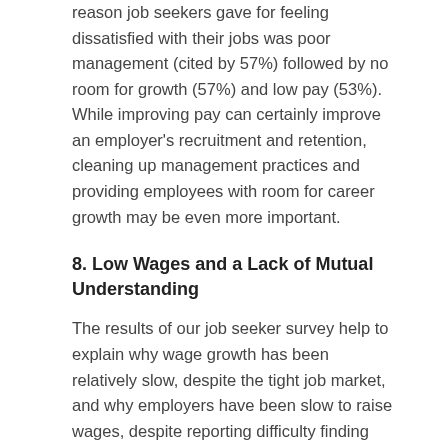reason job seekers gave for feeling dissatisfied with their jobs was poor management (cited by 57%) followed by no room for growth (57%) and low pay (53%). While improving pay can certainly improve an employer's recruitment and retention, cleaning up management practices and providing employees with room for career growth may be even more important.
8. Low Wages and a Lack of Mutual Understanding
The results of our job seeker survey help to explain why wage growth has been relatively slow, despite the tight job market, and why employers have been slow to raise wages, despite reporting difficulty finding and retaining quality candidates.
In our most recent employer survey, 82% of employers said that finding quality candidates is their biggest business challenge and 70% said they were finding it more difficult to